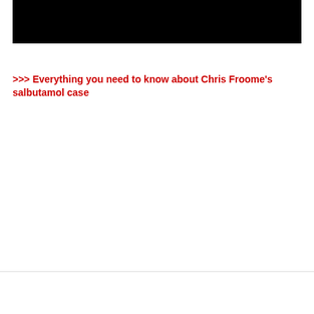[Figure (photo): Black rectangular image block at the top of the page]
>>> Everything you need to know about Chris Froome's salbutamol case